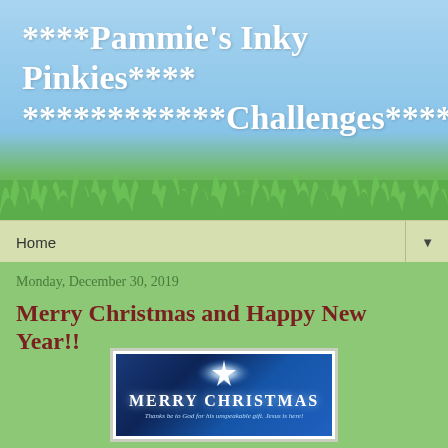****Pammie's Inky Pinkies**** ************Challenges************
Home
Monday, December 30, 2019
Merry Christmas and Happy New Year!!
[Figure (illustration): Christmas card image with blue starry background, bright star at top, text 'MERRY CHRISTMAS' and 'Thanks be to God for his unspeakable gift. Jesus is here!']